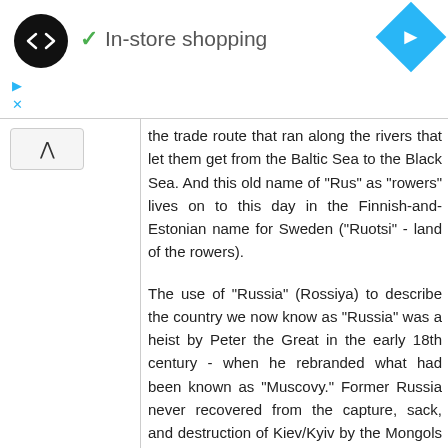[Figure (logo): Black circle logo with double arrow/infinity-like symbol in white, with cyan checkmark and 'In-store shopping' text, and a cyan navigation diamond icon on the right]
the trade route that ran along the rivers that let them get from the Baltic Sea to the Black Sea. And this old name of "Rus" as "rowers" lives on to this day in the Finnish-and-Estonian name for Sweden ("Ruotsi" - land of the rowers).
The use of "Russia" (Rossiya) to describe the country we now know as "Russia" was a heist by Peter the Great in the early 18th century - when he rebranded what had been known as "Muscovy." Former Russia never recovered from the capture, sack, and destruction of Kiev/Kyiv by the Mongols in 1241 - this let Muscovy become a dominant power.
You're close :-) on the name of the country. If you transliterate the Ukrainian or Russian version of